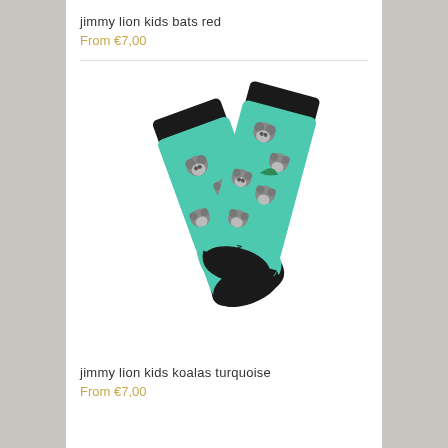jimmy lion kids bats red
From €7,00
[Figure (photo): Pair of turquoise socks with koala bear pattern and black cuffs/toes, Jimmy Lion brand, displayed crossed over each other]
jimmy lion kids koalas turquoise
From €7,00